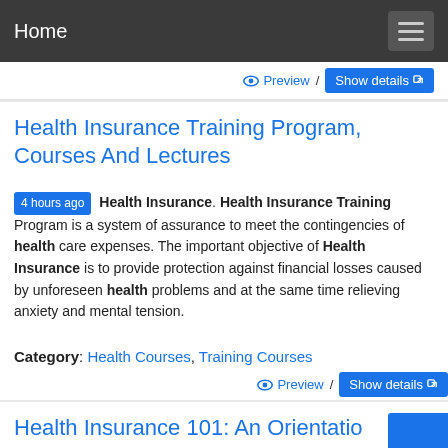Home
Preview / Show details
Health Insurance Training Program, Courses And Lectures
4 hours ago Health Insurance. Health Insurance Training Program is a system of assurance to meet the contingencies of health care expenses. The important objective of Health Insurance is to provide protection against financial losses caused by unforeseen health problems and at the same time relieving anxiety and mental tension.
Category: Health Courses, Training Courses
Preview / Show details
Health Insurance 101: An Orientation AHIP